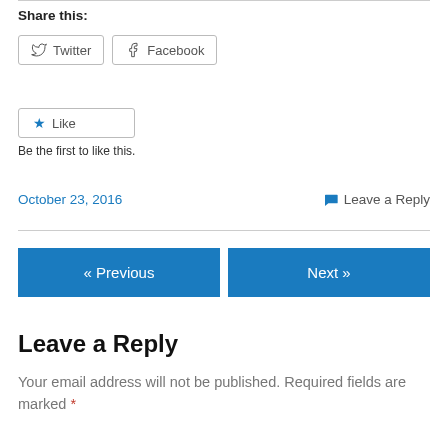Share this:
Twitter
Facebook
Like
Be the first to like this.
October 23, 2016
Leave a Reply
« Previous
Next »
Leave a Reply
Your email address will not be published. Required fields are marked *